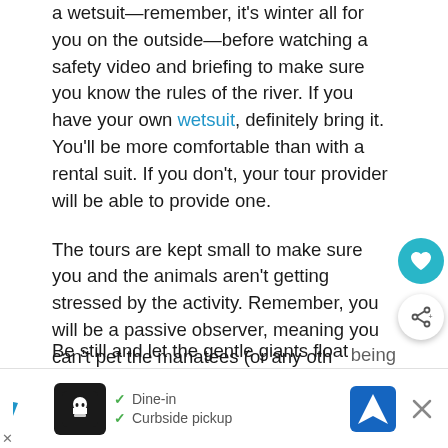a wetsuit—remember, it's winter all for you on the outside—before watching a safety video and briefing to make sure you know the rules of the river. If you have your own wetsuit, definitely bring it. You'll be more comfortable than with a rental suit. If you don't, your tour provider will be able to provide one.
The tours are kept small to make sure you and the animals aren't getting stressed by the activity. Remember, you will be a passive observer, meaning you can't pet the manatees (or any other wildlife) but can see them from a distance.
Be still and let the gentle giants float towards you
[Figure (other): Advertisement banner with restaurant icon, checkmarks for Dine-in and Curbside pickup, navigation/directions icon, and close button]